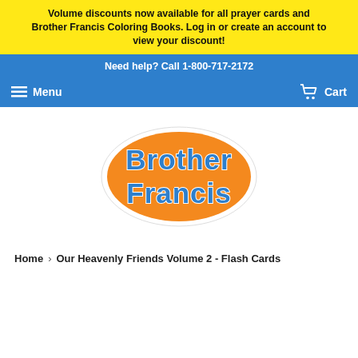Volume discounts now available for all prayer cards and Brother Francis Coloring Books. Log in or create an account to view your discount!
Need help? Call 1-800-717-2172
Menu
Cart
[Figure (logo): Brother Francis logo — blue text 'Brother Francis' on an orange oval shape with white border]
Home › Our Heavenly Friends Volume 2 - Flash Cards